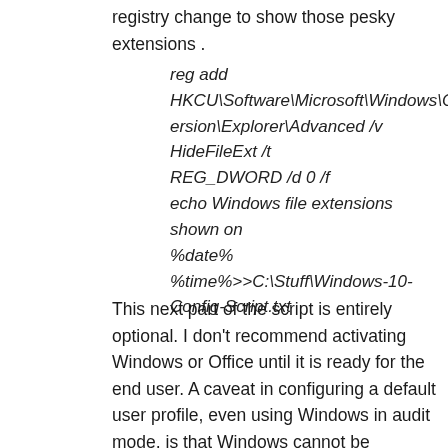registry change to show those pesky extensions .
This next part of the script is entirely optional. I don't recommend activating Windows or Office until it is ready for the end user. A caveat in configuring a default user profile, even using Windows in audit mode, is that Windows cannot be personalized until it is activated. That means you will not be able to configure a wallpaper